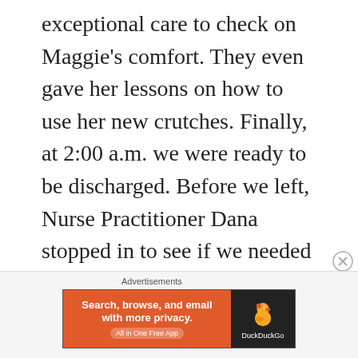exceptional care to check on Maggie's comfort. They even gave her lessons on how to use her new crutches. Finally, at 2:00 a.m. we were ready to be discharged. Before we left, Nurse Practitioner Dana stopped in to see if we needed anything else. She kindly provided an absence excuse and physical activity excuse for Maggie. But,she gave me the best gift I could have hoped for that night.
[Figure (other): DuckDuckGo advertisement banner: orange left panel with text 'Search, browse, and email with more privacy. All in One Free App' and dark right panel with DuckDuckGo duck logo and brand name.]